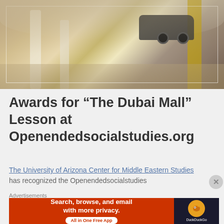[Figure (photo): Aerial/overhead view of Dubai Mall interior showing cars on display, columns, floors, and shoppers from above]
Awards for “The Dubai Mall” Lesson at Openendedsocialstudies.org
The University of Arizona Center for Middle Eastern Studies has recognized the Openendedsocialstudies
Advertisements
[Figure (other): DuckDuckGo advertisement banner: Search, browse, and email with more privacy. All in One Free App. DuckDuckGo logo on dark background.]